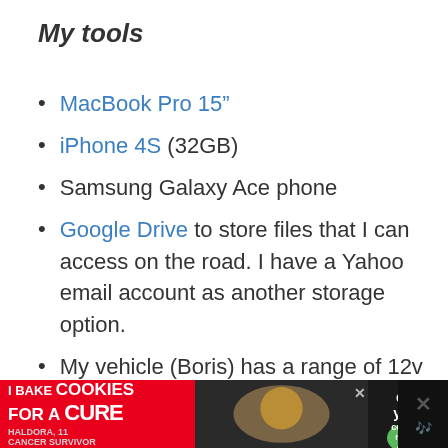My tools
MacBook Pro 15”
iPhone 4S (32GB)
Samsung Galaxy Ace phone
Google Drive to store files that I can access on the road. I have a Yahoo email account as another storage option.
My vehicle (Boris) has a range of 12v and 240v charging points which will all be used to keep things charged whenever I’m away from home.